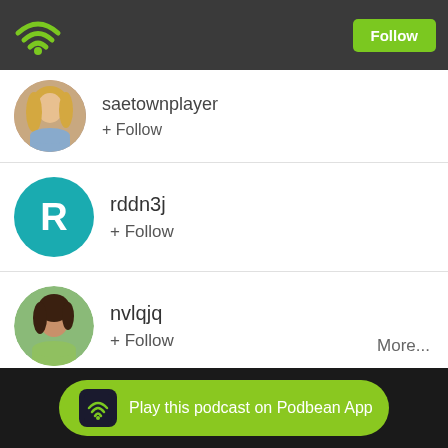[Figure (screenshot): Podbean app WiFi/podcast icon in green on dark header bar]
Follow
saetownplayer
+ Follow
rddn3j
+ Follow
nvlqjq
+ Follow
More...
Play this podcast on Podbean App